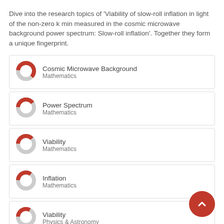Dive into the research topics of 'Viability of slow-roll inflation in light of the non-zero k min measured in the cosmic microwave background power spectrum: Slow-roll inflation'. Together they form a unique fingerprint.
[Figure (donut-chart): Donut chart icon for Cosmic Microwave Background, approximately 62% filled red, Mathematics category]
Cosmic Microwave Background
Mathematics
[Figure (donut-chart): Donut chart icon for Power Spectrum, approximately 40% filled red, Mathematics category]
Power Spectrum
Mathematics
[Figure (donut-chart): Donut chart icon for Viability, approximately 38% filled red, Mathematics category]
Viability
Mathematics
[Figure (donut-chart): Donut chart icon for Inflation, approximately 35% filled red, Mathematics category]
Inflation
Mathematics
[Figure (donut-chart): Donut chart icon for Viability, approximately 33% filled red, Physics & Astronomy category]
Viability
Physics & Astronomy